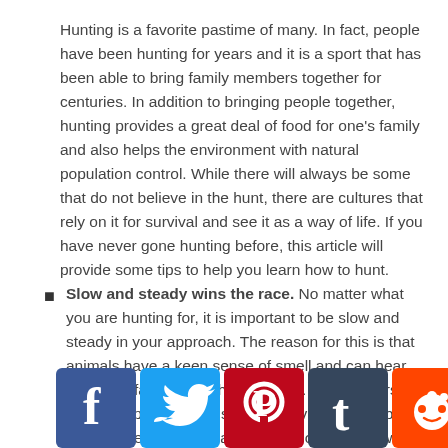Hunting is a favorite pastime of many. In fact, people have been hunting for years and it is a sport that has been able to bring family members together for centuries. In addition to bringing people together, hunting provides a great deal of food for one's family and also helps the environment with natural population control. While there will always be some that do not believe in the hunt, there are cultures that rely on it for survival and see it as a way of life. If you have never gone hunting before, this article will provide some tips to help you learn how to hunt.
Slow and steady wins the race. No matter what you are hunting for, it is important to be slow and steady in your approach. The reason for this is that animals have a keen sense of smell and can hear things far farther than humans can. New hunters find the concept of staying still and moving slow to be a hard concept to grasp at first. One of the best ways to get the hang of being still or
[Figure (other): Social media sharing icons: Facebook (blue), Twitter (light blue), Pinterest (red), Tumblr (dark navy), Reddit (orange), and AddThis/plus (blue) buttons overlaid at the bottom of the page.]